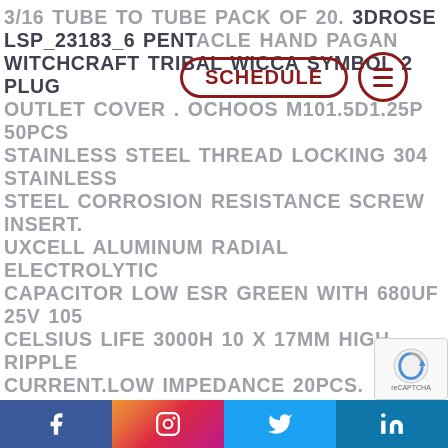3/16 TUBE TO TUBE PACK OF 20. 3DROSE LSP_23183_6 PENTACLE HAND PAGAN WITCHCRAFT TRIBAL WICCA SYMBOL 2 PLUG OUTLET COVER . OCHOOS M101.5D1.25P 50PCS STAINLESS STEEL THREAD LOCKING 304 STAINLESS STEEL CORROSION RESISTANCE SCREW INSERT. UXCELL ALUMINUM RADIAL ELECTROLYTIC CAPACITOR LOW ESR GREEN WITH 680UF 25V 105 CELSIUS LIFE 3000H 10 X 17MM HIGH RIPPLE CURRENT.LOW IMPEDANCE 20PCS. 3DROSE LSP_23183_6 PENTACLE HAND PAGAN WITCHCRAFT TRIBAL WICCA SYMBOL 2 PLUG OUTLET COVER . 10 PCS SLOTTED ROLL SPRING PIN 1/8 DIA X 1 1/4 LENGTH STAINLESS 420 LBS/IN SPRING RATE 3.27 EXTENDED LENG...
[Figure (infographic): Navigation UI overlay with SCHEDULE pill button (dark red border and text) and hamburger menu circle button (dark red)]
[Figure (infographic): Social media bar at bottom with Facebook (blue), Instagram (gradient), Twitter (light blue), LinkedIn (dark blue) icons. reCAPTCHA badge on bottom right.]